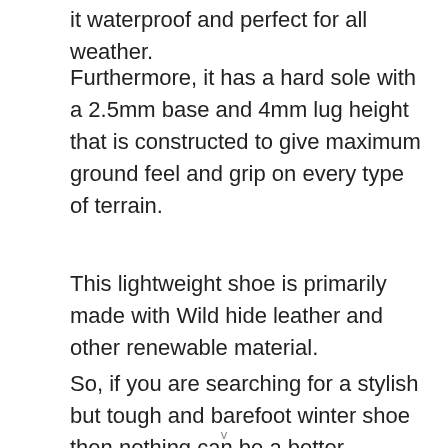it waterproof and perfect for all weather.
Furthermore, it has a hard sole with a 2.5mm base and 4mm lug height that is constructed to give maximum ground feel and grip on every type of terrain.
This lightweight shoe is primarily made with Wild hide leather and other renewable material.
So, if you are searching for a stylish but tough and barefoot winter shoe then nothing can be a better
v